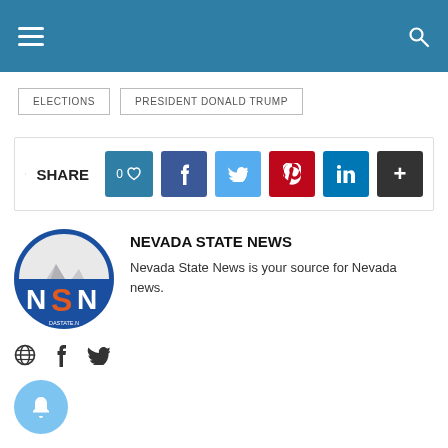Nevada State News - site header with hamburger menu and search icon
ELECTIONS
PRESIDENT DONALD TRUMP
[Figure (infographic): Share bar with like, Facebook, Twitter, Pinterest, LinkedIn, and more buttons]
NEVADA STATE NEWS
Nevada State News is your source for Nevada news.
[Figure (logo): Nevada State News circular logo with NSN initials and mountain graphic]
Social icons: globe, Facebook, Twitter